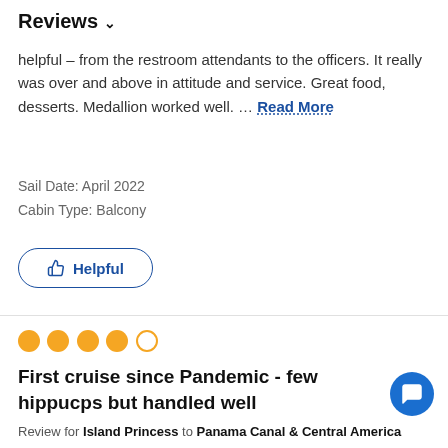Reviews ∨
helpful – from the restroom attendants to the officers. It really was over and above in attitude and service. Great food, desserts. Medallion worked well. … Read More
Sail Date: April 2022
Cabin Type: Balcony
👍 Helpful
[Figure (other): 4 out of 5 star rating shown as orange filled circles with one empty circle]
First cruise since Pandemic - few hippucps but handled well
Review for Island Princess to Panama Canal & Central America